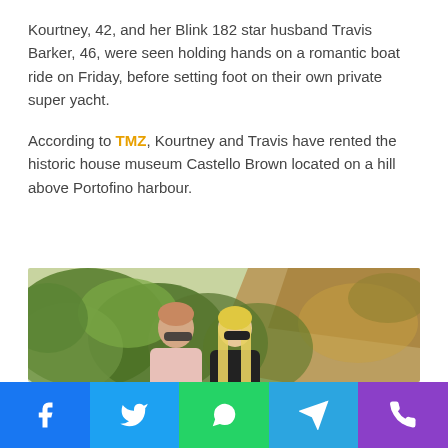Kourtney, 42, and her Blink 182 star husband Travis Barker, 46, were seen holding hands on a romantic boat ride on Friday, before setting foot on their own private super yacht.
According to TMZ, Kourtney and Travis have rented the historic house museum Castello Brown located on a hill above Portofino harbour.
[Figure (photo): A couple walking outdoors with green foliage and rocky terrain in the background. A man in a pink shirt and sunglasses is on the left; a woman with long blonde hair and sunglasses wearing a black outfit is on the right.]
Social share buttons: Facebook, Twitter, WhatsApp, Telegram, Phone